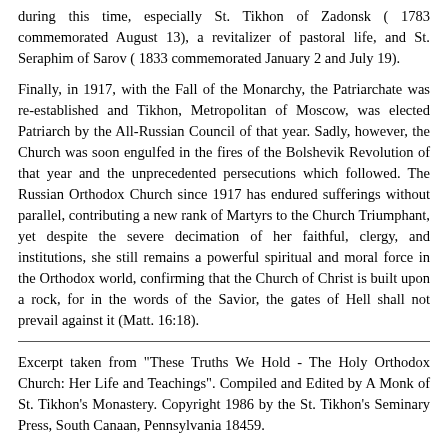during this time, especially St. Tikhon of Zadonsk ( 1783 commemorated August 13), a revitalizer of pastoral life, and St. Seraphim of Sarov ( 1833 commemorated January 2 and July 19).
Finally, in 1917, with the Fall of the Monarchy, the Patriarchate was re-established and Tikhon, Metropolitan of Moscow, was elected Patriarch by the All-Russian Council of that year. Sadly, however, the Church was soon engulfed in the fires of the Bolshevik Revolution of that year and the unprecedented persecutions which followed. The Russian Orthodox Church since 1917 has endured sufferings without parallel, contributing a new rank of Martyrs to the Church Triumphant, yet despite the severe decimation of her faithful, clergy, and institutions, she still remains a powerful spiritual and moral force in the Orthodox world, confirming that the Church of Christ is built upon a rock, for in the words of the Savior, the gates of Hell shall not prevail against it (Matt. 16:18).
Excerpt taken from "These Truths We Hold - The Holy Orthodox Church: Her Life and Teachings". Compiled and Edited by A Monk of St. Tikhon's Monastery. Copyright 1986 by the St. Tikhon's Seminary Press, South Canaan, Pennsylvania 18459.
To order a copy of "These Truths We Hold" visit the St. Tikhon's Orthodox Seminary Bookstore.